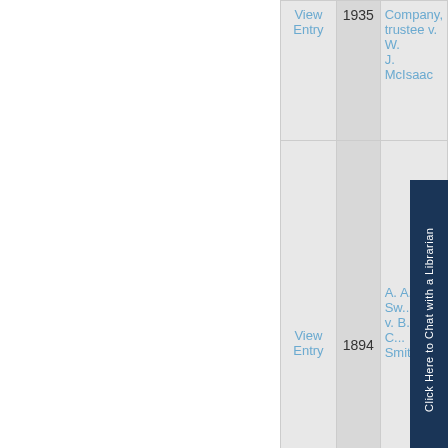|  | Year | Case Name |
| --- | --- | --- |
| View Entry | 1935 | ...Company, trustee v. W. J. McIsaac |
| View Entry | 1894 | A. A. Sw... v. B. F. C... Smith |